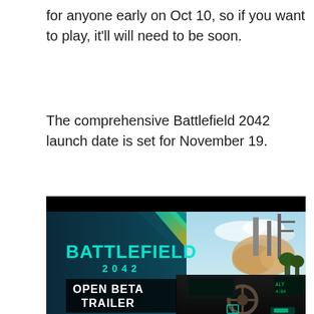for anyone early on Oct 10, so if you want to play, it'll will need to be soon.
The comprehensive Battlefield 2042 launch date is set for November 19.
[Figure (screenshot): Battlefield 2042 Open Beta Trailer promotional image showing the game logo in cyan text with '2042' below it on the left side, an 'OPEN BETA TRAILER' text block in the lower left, and a split scene showing a rocket launch with explosion on the right side and a vehicle interior dashboard view in the lower right, all on a dark background with colorful light streaks.]